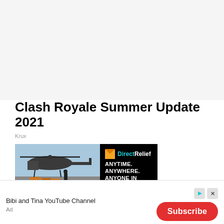Clash Royale Summer Update 2021
Krux
[Figure (photo): Advertisement banner: left side shows a military helicopter with cargo boxes on a tarmac, right side is a black panel with Direct Relief logo and tagline ANYTIME. ANYWHERE. ANYONE IN NEED.]
Bibi and Tina YouTube Channel
Subscribe
Ad